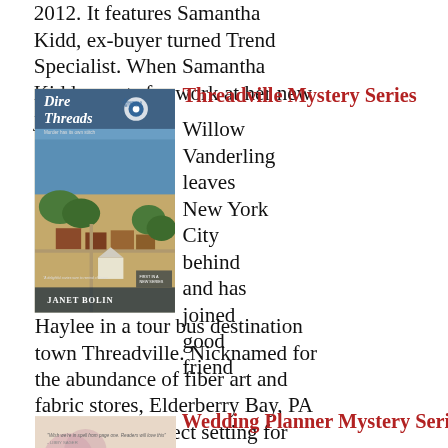2012. It features Samantha Kidd, ex-buyer turned Trend Specialist. When Samantha Kidd reports for work at her new job as a trend
Threadville Mystery Series
[Figure (photo): Book cover of 'Dire Threads' by Janet Bolin, first in the Threadville Mystery series, showing an aerial view of a small coastal town.]
Willow Vanderling leaves New York City behind and has joined good friend Haylee in a tour bus destination town Threadville. Nicknamed for the abundance of fiber art and fabric stores, Elderberry Bay, PA looks like a perfect setting for
Wedding Planner Mystery Series
[Figure (photo): Book cover of 'Engaged in Murder' at bottom left corner, partially visible.]